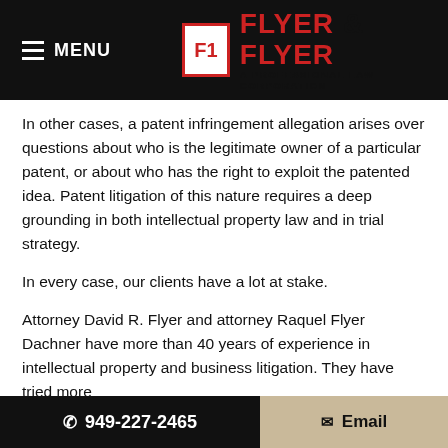MENU | FLYER & FLYER A PROFESSIONAL LAW CORPORATION
In other cases, a patent infringement allegation arises over questions about who is the legitimate owner of a particular patent, or about who has the right to exploit the patented idea. Patent litigation of this nature requires a deep grounding in both intellectual property law and in trial strategy.
In every case, our clients have a lot at stake.
Attorney David R. Flyer and attorney Raquel Flyer Dachner have more than 40 years of experience in intellectual property and business litigation. They have tried more
📞 949-227-2465   ✉ Email